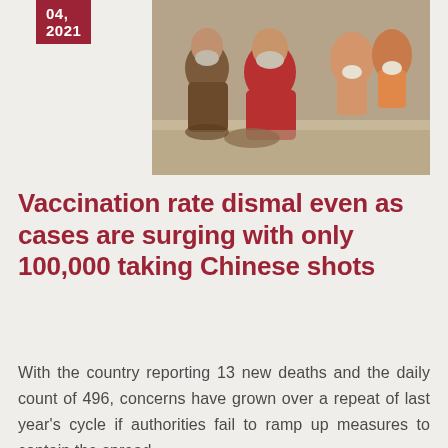04, 2021
[Figure (photo): People wearing face masks seated on the ground, likely in a public setting during the COVID-19 pandemic.]
Vaccination rate dismal even as cases are surging with only 100,000 taking Chinese shots
With the country reporting 13 new deaths and the daily count of 496, concerns have grown over a repeat of last year's cycle if authorities fail to ramp up measures to contain the spread.